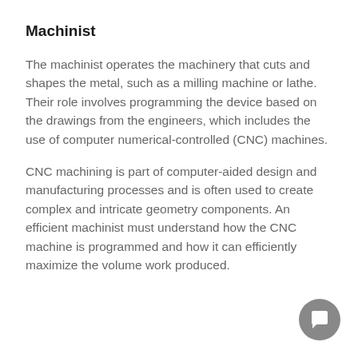Machinist
The machinist operates the machinery that cuts and shapes the metal, such as a milling machine or lathe. Their role involves programming the device based on the drawings from the engineers, which includes the use of computer numerical-controlled (CNC) machines.
CNC machining is part of computer-aided design and manufacturing processes and is often used to create complex and intricate geometry components. An efficient machinist must understand how the CNC machine is programmed and how it can efficiently maximize the volume work produced.